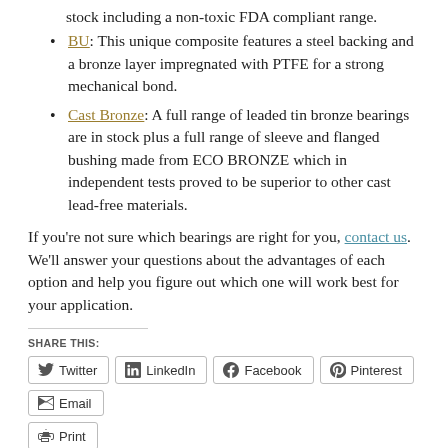stock including a non-toxic FDA compliant range.
BU: This unique composite features a steel backing and a bronze layer impregnated with PTFE for a strong mechanical bond.
Cast Bronze: A full range of leaded tin bronze bearings are in stock plus a full range of sleeve and flanged bushing made from ECO BRONZE which in independent tests proved to be superior to other cast lead-free materials.
If you’re not sure which bearings are right for you, contact us. We’ll answer your questions about the advantages of each option and help you figure out which one will work best for your application.
SHARE THIS:
Twitter | LinkedIn | Facebook | Pinterest | Email | Print